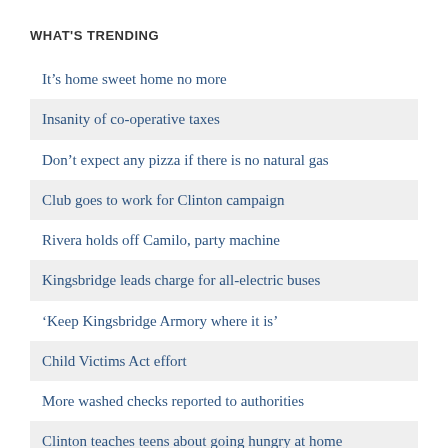WHAT'S TRENDING
It’s home sweet home no more
Insanity of co-operative taxes
Don’t expect any pizza if there is no natural gas
Club goes to work for Clinton campaign
Rivera holds off Camilo, party machine
Kingsbridge leads charge for all-electric buses
‘Keep Kingsbridge Armory where it is’
Child Victims Act effort
More washed checks reported to authorities
Clinton teaches teens about going hungry at home